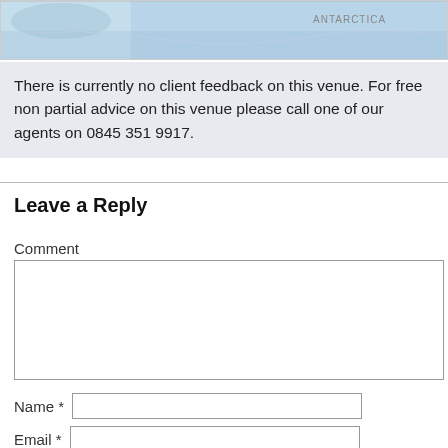[Figure (map): Partial map showing Antarctica label in the upper right, with blue ocean and land areas visible.]
There is currently no client feedback on this venue. For free non partial advice on this venue please call one of our agents on 0845 351 9917.
Leave a Reply
Comment
Name *
Email *